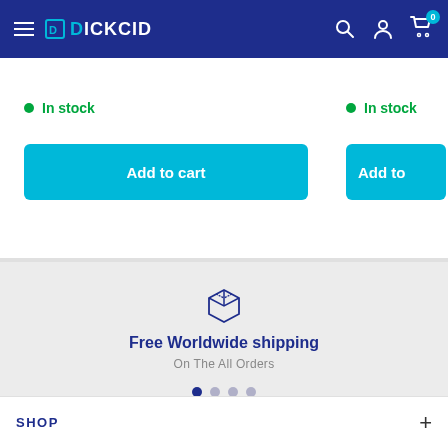DICKCID — navigation header with hamburger menu, logo, search, account, and cart icons
In stock
In stock
Add to cart
Add to
[Figure (illustration): Package/box icon in dark blue outline style for shipping section]
Free Worldwide shipping
On The All Orders
SHOP